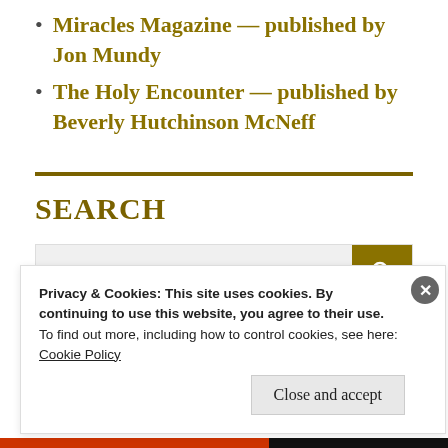Miracles Magazine — published by Jon Mundy
The Holy Encounter — published by Beverly Hutchinson McNeff
SEARCH
Search ...
Privacy & Cookies: This site uses cookies. By continuing to use this website, you agree to their use.
To find out more, including how to control cookies, see here:
Cookie Policy
Close and accept